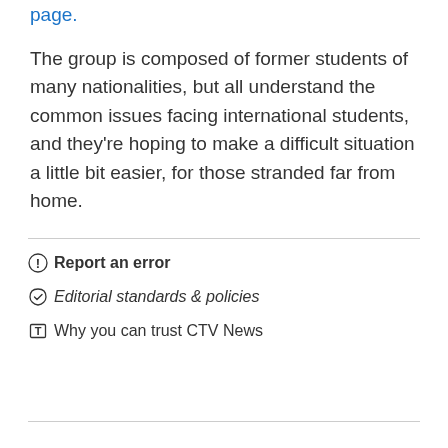page.
The group is composed of former students of many nationalities, but all understand the common issues facing international students, and they're hoping to make a difficult situation a little bit easier, for those stranded far from home.
Report an error
Editorial standards & policies
Why you can trust CTV News
MOST WATCHED